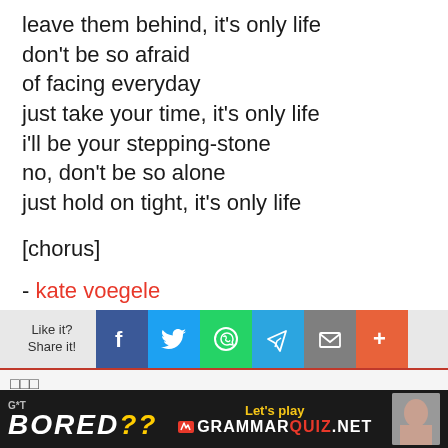leave them behind, it's only life
don't be so afraid
of facing everyday
just take your time, it's only life
i'll be your stepping-stone
no, don't be so alone
just hold on tight, it's only life
[chorus]
- kate voegele
[Figure (infographic): Social share bar with Like it? Share it! label and buttons for Facebook, Twitter, WhatsApp, Telegram, Email, and More]
□□□
data not found / invalid format
[Figure (infographic): Bottom advertisement banner: got bored?? Let's play GrammarQuiz.net with person image]